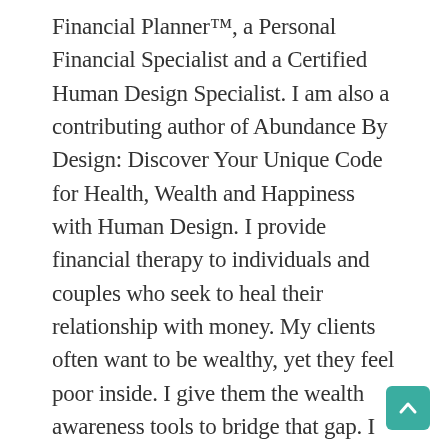Financial Planner™, a Personal Financial Specialist and a Certified Human Design Specialist. I am also a contributing author of Abundance By Design: Discover Your Unique Code for Health, Wealth and Happiness with Human Design. I provide financial therapy to individuals and couples who seek to heal their relationship with money. My clients often want to be wealthy, yet they feel poor inside. I give them the wealth awareness tools to bridge that gap. I focus on the interior financial planning aspects that move them from the pains of the past into the present, while focusing on the bigger dreams of their future. My background includes working over sixteen years in the public accounting and financial planning
[Figure (other): Back-to-top button: teal/green rounded square with an upward-pointing chevron arrow in white]